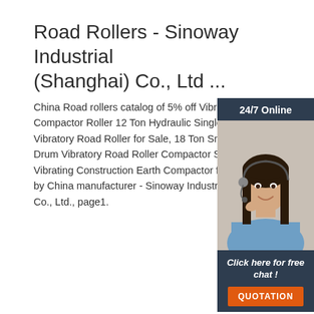Road Rollers - Sinoway Industrial (Shanghai) Co., Ltd ...
China Road rollers catalog of 5% off Vibrating Compactor Roller 12 Ton Hydraulic Single Ste Vibratory Road Roller for Sale, 18 Ton Smooth Drum Vibratory Road Roller Compactor Small Vibrating Construction Earth Compactor for Sa by China manufacturer - Sinoway Industrial (S Co., Ltd., page1.
[Figure (photo): Customer service representative with headset, smiling, on dark navy background with '24/7 Online' header and 'Click here for free chat!' / 'QUOTATION' button overlay]
Get Price